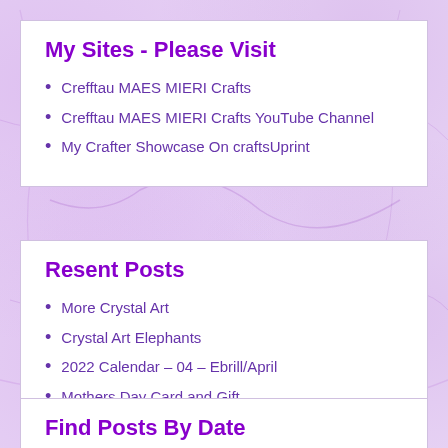My Sites - Please Visit
Crefftau MAES MIERI Crafts
Crefftau MAES MIERI Crafts YouTube Channel
My Crafter Showcase On craftsUprint
Resent Posts
More Crystal Art
Crystal Art Elephants
2022 Calendar – 04 – Ebrill/April
Mothers Day Card and Gift
2022 Calendar – 03 – Mawrth/March
Find Posts By Date